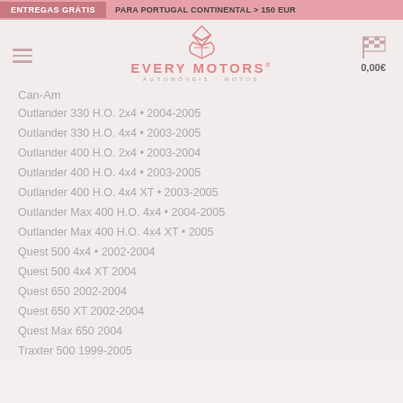ENTREGAS GRÁTIS  PARA PORTUGAL CONTINENTAL > 150 EUR
[Figure (logo): Every Motors logo with checkered flag icon, 0,00€ cart price]
Can-Am
Outlander 330 H.O. 2x4 • 2004-2005
Outlander 330 H.O. 4x4 • 2003-2005
Outlander 400 H.O. 2x4 • 2003-2004
Outlander 400 H.O. 4x4 • 2003-2005
Outlander 400 H.O. 4x4 XT • 2003-2005
Outlander Max 400 H.O. 4x4 • 2004-2005
Outlander Max 400 H.O. 4x4 XT • 2005
Quest 500 4x4 • 2002-2004
Quest 500 4x4 XT 2004
Quest 650 2002-2004
Quest 650 XT 2002-2004
Quest Max 650 2004
Traxter 500 1999-2005